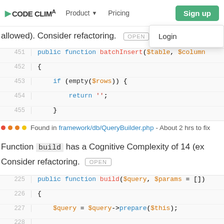CODE CLIMATE  Product  Pricing  Sign up  Login
allowed). Consider refactoring.  [OPEN]
[Figure (screenshot): Code snippet showing lines 451-455 of batchInsert function: public function batchInsert($table, $column..., {, if (empty($rows)) {, return '';, }]
Found in framework/db/QueryBuilder.php - About 2 hrs to fix
Function build has a Cognitive Complexity of 14 (ex... Consider refactoring.  [OPEN]
[Figure (screenshot): Code snippet showing lines 225-228 of build function: public function build($query, $params = []), {, $query = $query->prepare($this);]